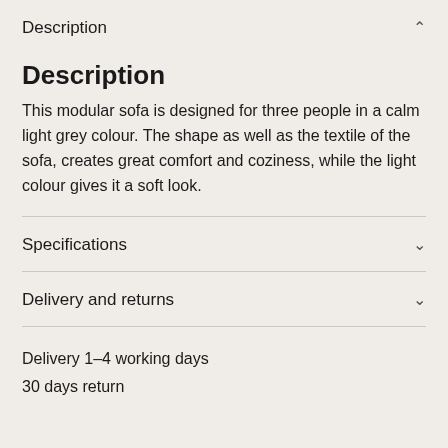Description
Description
This modular sofa is designed for three people in a calm light grey colour. The shape as well as the textile of the sofa, creates great comfort and coziness, while the light colour gives it a soft look.
Specifications
Delivery and returns
Delivery 1–4 working days
30 days return